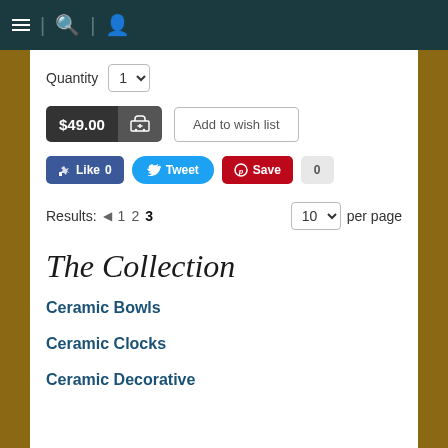Navigation bar with menu, search, and user icons
Quantity 1
$49.00 [Add to cart]
Add to wish list
Like 0  Tweet  Save 0
Results: ◄ 1 2 3   10 per page
The Collection
Ceramic Bowls
Ceramic Clocks
Ceramic Decorative